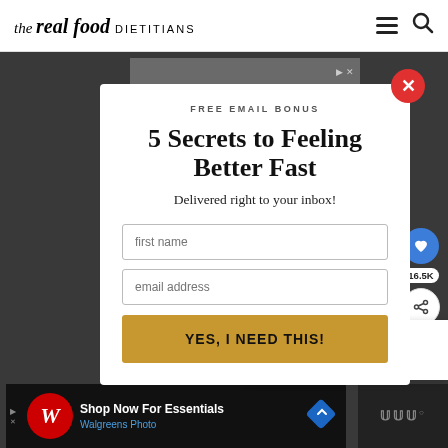the real food DIETITIANS
[Figure (screenshot): Website popup modal on The Real Food Dietitians website with a dark overlay background]
5 Secrets to Feeling Better Fast
FREE EMAIL BONUS
Delivered right to your inbox!
first name
email address
YES, I NEED THIS!
WHAT'S NEXT → Healthy Blueberry...
Shop Now For Essentials Walgreens Photo